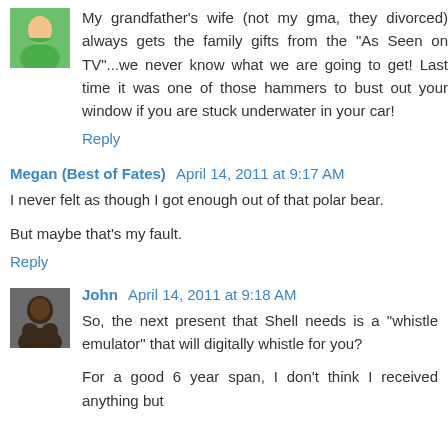My grandfather's wife (not my gma, they divorced) always gets the family gifts from the "As Seen on TV"...we never know what we are going to get! Last time it was one of those hammers to bust out your window if you are stuck underwater in your car!
Reply
Megan (Best of Fates)  April 14, 2011 at 9:17 AM
I never felt as though I got enough out of that polar bear.
But maybe that's my fault.
Reply
John  April 14, 2011 at 9:18 AM
So, the next present that Shell needs is a "whistle emulator" that will digitally whistle for you?
For a good 6 year span, I don't think I received anything but